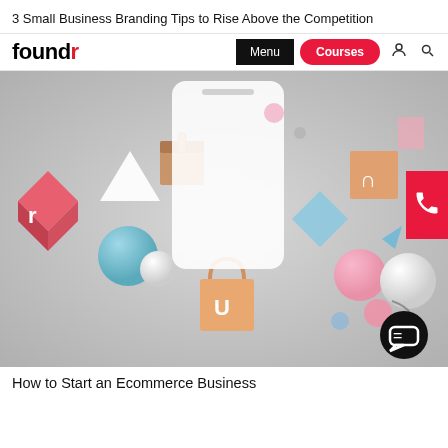3 Small Business Branding Tips to Rise Above the Competition
[Figure (screenshot): Foundr website navigation bar with logo, Menu button, Courses button, user icon, and search icon]
[Figure (illustration): Hero image showing a white smartphone surrounded by floating 3D colorful objects including cubes, spheres, pyramids, and shopping bag icons on a light gray background. A red call button is in the top right corner and a black chat button is in the bottom right corner.]
How to Start an Ecommerce Business